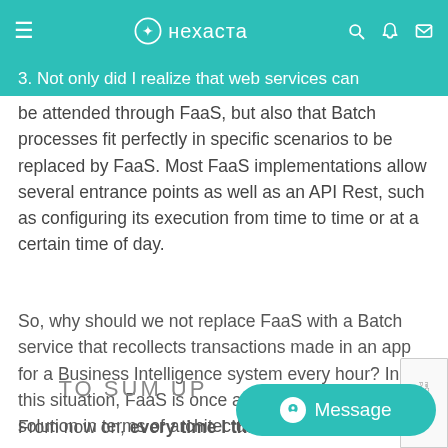нехаста
3. Not only did I realize that web services can be attended through FaaS, but also that Batch processes fit perfectly in specific scenarios to be replaced by FaaS. Most FaaS implementations allow several entrance points as well as an API Rest, such as configuring its execution from time to time or at a certain time of day.
So, why should we not replace FaaS with a Batch service that recollects transactions made in an app for a Business Intelligence system every hour? In this situation, FaaS is once again a much simpler solution in terms of architecture.
TO SUM UP
From now on, every time I think of a